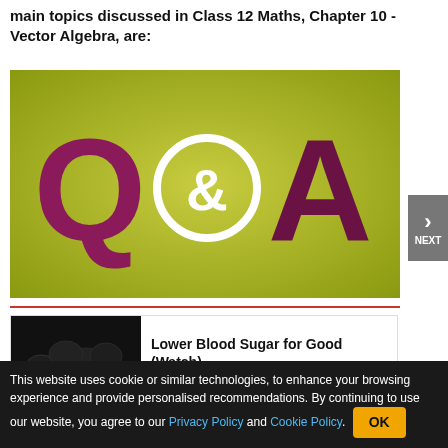main topics discussed in Class 12 Maths, Chapter 10 - Vector Algebra, are:
[Figure (illustration): Q&A logo on an olive/yellow-green gradient background. Large dark magenta/maroon letters Q and A with an ampersand in a circular white ring between them.]
[Figure (illustration): Advertisement box showing dark berries/raisins image on the left, with bold text 'Lower Blood Sugar for Good (Watch)' and an AD badge next to 'Growthmax']
This website uses cookie or similar technologies, to enhance your browsing experience and provide personalised recommendations. By continuing to use our website, you agree to our Privacy Policy and Cookie Policy.